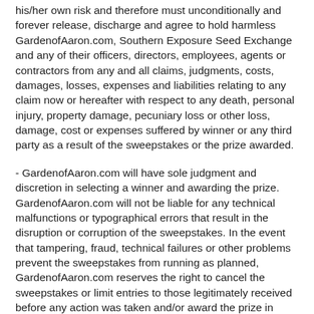his/her own risk and therefore must unconditionally and forever release, discharge and agree to hold harmless GardenofAaron.com, Southern Exposure Seed Exchange and any of their officers, directors, employees, agents or contractors from any and all claims, judgments, costs, damages, losses, expenses and liabilities relating to any claim now or hereafter with respect to any death, personal injury, property damage, pecuniary loss or other loss, damage, cost or expenses suffered by winner or any third party as a result of the sweepstakes or the prize awarded.
- GardenofAaron.com will have sole judgment and discretion in selecting a winner and awarding the prize. GardenofAaron.com will not be liable for any technical malfunctions or typographical errors that result in the disruption or corruption of the sweepstakes. In the event that tampering, fraud, technical failures or other problems prevent the sweepstakes from running as planned, GardenofAaron.com reserves the right to cancel the sweepstakes or limit entries to those legitimately received before any action was taken and/or award the prize in such a manner as may be deemed fair and equitable by GardenofAaron.com in its sole discretion.